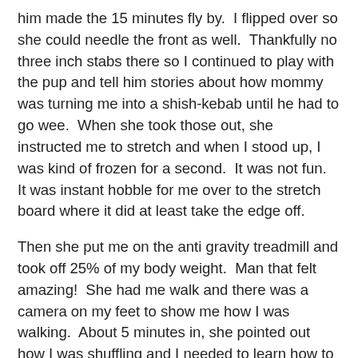him made the 15 minutes fly by.  I flipped over so she could needle the front as well.  Thankfully no three inch stabs there so I continued to play with the pup and tell him stories about how mommy was turning me into a shish-kebab until he had to go wee.  When she took those out, she instructed me to stretch and when I stood up, I was kind of frozen for a second.  It was not fun.  It was instant hobble for me over to the stretch board where it did at least take the edge off.
Then she put me on the anti gravity treadmill and took off 25% of my body weight.  Man that felt amazing!  She had me walk and there was a camera on my feet to show me how I was walking.  About 5 minutes in, she pointed out how I was shuffling and I needed to learn how to walk properly with a heel to toe motion and to walk so that I saw more of the bottom of my shoes.  She said it was likely a protection mechanism from the injury but I might not need it anymore.  The day before with the lock up, it wouldn't have been possible.  But I took advantage of it while I was able to and did 15 minutes on it.  It got some good blood pumping through the muscles so it didn't hurt quite as bad at the time.  Then I got my calves grastoned and there were a few